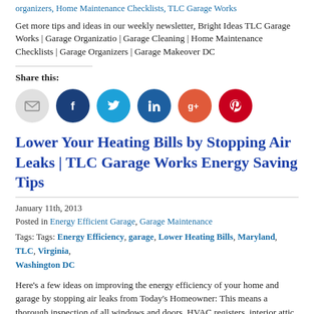organizers, Home Maintenance Checklists, TLC Garage Works
Get more tips and ideas in our weekly newsletter, Bright Ideas TLC Garage Works | Garage Organizatio | Garage Cleaning | Home Maintenance Checklists | Garage Organizers | Garage Makeover DC
Share this:
[Figure (infographic): Row of social sharing icon buttons: email (gray), Facebook (dark blue), Twitter (light blue), LinkedIn (blue), Google+ (orange-red), Pinterest (red)]
Lower Your Heating Bills by Stopping Air Leaks | TLC Garage Works Energy Saving Tips
January 11th, 2013
Posted in Energy Efficient Garage, Garage Maintenance
Tags: Tags: Energy Efficiency, garage, Lower Heating Bills, Maryland, TLC, Virginia, Washington DC
Here's a few ideas on improving the energy efficiency of your home and garage by stopping air leaks from Today's Homeowner: This means a thorough inspection of all windows and doors, HVAC registers, interior attic access openings, and any openings… Read More